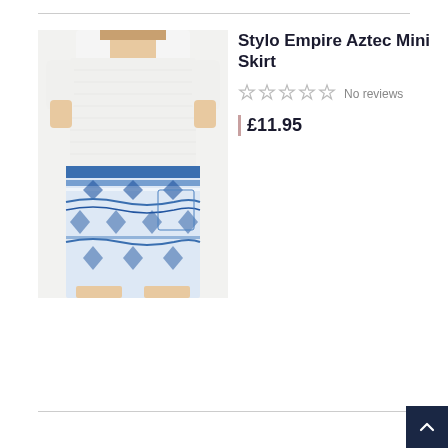[Figure (photo): Woman wearing a white short-sleeve blouse and a blue and white Aztec-patterned mini skirt, shown from shoulders to thighs on a white background.]
Stylo Empire Aztec Mini Skirt
No reviews
£11.95